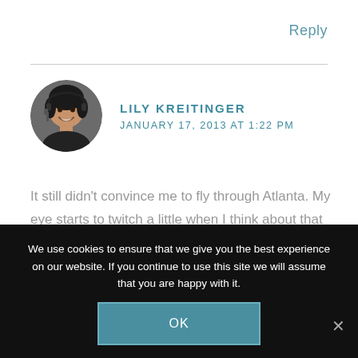Reply
LILY KREITINGER
JANUARY 17, 2013 AT 1:22 PM
[Figure (photo): Circular avatar photo of Lily Kreitinger, a smiling woman]
It still didn't convince me to fly through Atlanta. My eye starts to twitch a little when I think about that airport. However, what a great food post! I mean, customer service experience
We use cookies to ensure that we give you the best experience on our website. If you continue to use this site we will assume that you are happy with it.
OK